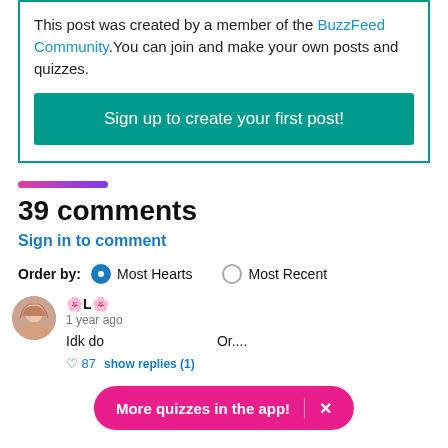This post was created by a member of the BuzzFeed Community. You can join and make your own posts and quizzes.
Sign up to create your first post!
39 comments
Sign in to comment
Order by: Most Hearts  Most Recent
🌸L🌸
1 year ago
Idk do... Or....
♡ 87  Show replies (1)
More quizzes in the app!  ×